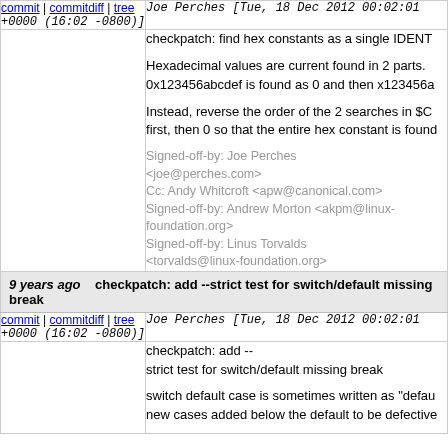commit | commitdiff | tree   Joe Perches [Tue, 18 Dec 2012 00:02:01 +0000 (16:02 -0800)]
checkpatch: find hex constants as a single IDENT

Hexadecimal values are current found in 2 parts. 0x123456abcdef is found as 0 and then x123456a

Instead, reverse the order of the 2 searches in $C first, then 0 so that the entire hex constant is found

Signed-off-by: Joe Perches <joe@perches.com>
Cc: Andy Whitcroft <apw@canonical.com>
Signed-off-by: Andrew Morton <akpm@linux-foundation.org>
Signed-off-by: Linus Torvalds <torvalds@linux-foundation.org>
9 years ago   checkpatch: add --strict test for switch/default missing break
commit | commitdiff | tree   Joe Perches [Tue, 18 Dec 2012 00:02:01 +0000 (16:02 -0800)]
checkpatch: add --
strict test for switch/default missing break

switch default case is sometimes written as "defau new cases added below the default to be defective